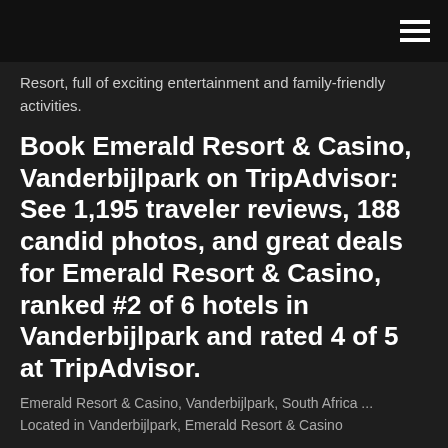≡
Resort, full of exciting entertainment and family-friendly activities.
Book Emerald Resort & Casino, Vanderbijlpark on TripAdvisor: See 1,195 traveler reviews, 188 candid photos, and great deals for Emerald Resort & Casino, ranked #2 of 6 hotels in Vanderbijlpark and rated 4 of 5 at TripAdvisor.
Emerald Resort & Casino, Vanderbijlpark, South Africa ...
Located in Vanderbijlpark, Emerald Resort & Casino